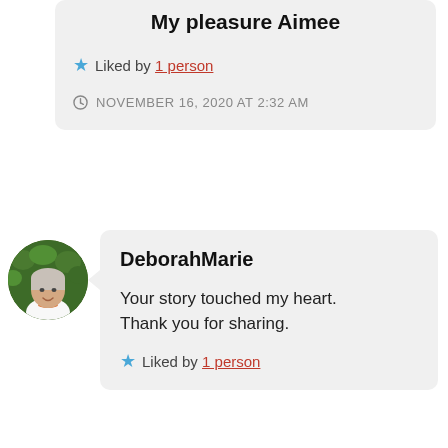My pleasure Aimee
Liked by 1 person
NOVEMBER 16, 2020 AT 2:32 AM
[Figure (photo): Circular profile photo of an older woman in white top with orange necklace, standing in front of green hedges]
DeborahMarie
Your story touched my heart. Thank you for sharing.
Liked by 1 person